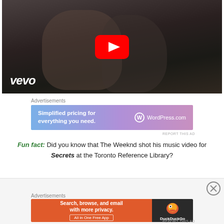[Figure (screenshot): YouTube video thumbnail showing The Weeknd music video on Vevo, two people embracing, with YouTube play button overlay and Vevo logo in bottom left]
Advertisements
[Figure (screenshot): WordPress.com advertisement banner with blue-purple gradient: 'Simplified pricing for everything you need.' with WordPress.com logo on right]
REPORT THIS AD
Fun fact: Did you know that The Weeknd shot his music video for Secrets at the Toronto Reference Library?
Advertisements
[Figure (screenshot): DuckDuckGo advertisement: 'Search, browse, and email with more privacy. All in One Free App' with DuckDuckGo logo on dark right panel]
REPORT THIS AD